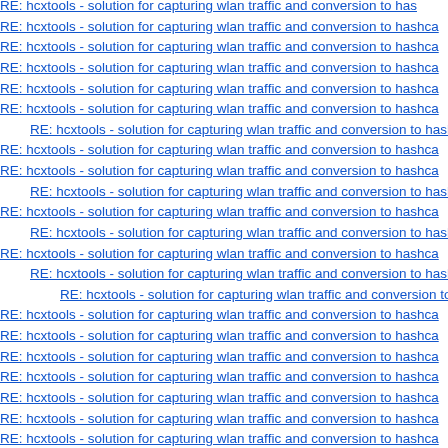RE: hcxtools - solution for capturing wlan traffic and conversion to hashca
RE: hcxtools - solution for capturing wlan traffic and conversion to hashca
RE: hcxtools - solution for capturing wlan traffic and conversion to hashca
RE: hcxtools - solution for capturing wlan traffic and conversion to hashca
RE: hcxtools - solution for capturing wlan traffic and conversion to hashca
RE: hcxtools - solution for capturing wlan traffic and conversion to hash (indented)
RE: hcxtools - solution for capturing wlan traffic and conversion to hashca
RE: hcxtools - solution for capturing wlan traffic and conversion to hashca
RE: hcxtools - solution for capturing wlan traffic and conversion to hash (indented)
RE: hcxtools - solution for capturing wlan traffic and conversion to hashca
RE: hcxtools - solution for capturing wlan traffic and conversion to hash (indented)
RE: hcxtools - solution for capturing wlan traffic and conversion to hashca
RE: hcxtools - solution for capturing wlan traffic and conversion to hash (indented)
RE: hcxtools - solution for capturing wlan traffic and conversion to ha (indented2)
RE: hcxtools - solution for capturing wlan traffic and conversion to hashca
RE: hcxtools - solution for capturing wlan traffic and conversion to hashca
RE: hcxtools - solution for capturing wlan traffic and conversion to hashca
RE: hcxtools - solution for capturing wlan traffic and conversion to hashca
RE: hcxtools - solution for capturing wlan traffic and conversion to hashca
RE: hcxtools - solution for capturing wlan traffic and conversion to hashca
RE: hcxtools - solution for capturing wlan traffic and conversion to hashca
RE: hcxtools - solution for capturing wlan traffic and conversion to hashca
RE: hcxtools - solution for capturing wlan traffic and conversion to hashca
RE: hcxtools - solution for capturing wlan traffic and conversion to hashca
RE: hcxtools - solution for capturing wlan traffic and conversion to hash (indented)
RE: hcxtools - solution for capturing wlan traffic and conversion to hashca
RE: hcxtools - solution for capturing wlan traffic and conversion to ha (indented)